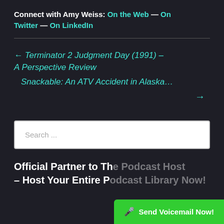Connect with Amy Weiss: On the Web — On Twitter — On LinkedIn
← Terminator 2 Judgment Day (1991) – A Perspective Review
Snackable: An ATV Accident in Alaska… →
Search ...
Official Partner to The Podcast Host – Host Your Entire Podcast Library Now!
🎤 Send Voicemail Now!